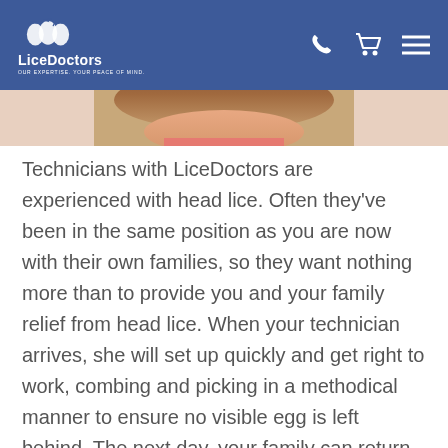LiceDoctors — Our Expertise. Your Peace of Mind.
[Figure (photo): Partial photo of a child's head/hair, cropped, visible at top of page below navigation header]
Technicians with LiceDoctors are experienced with head lice. Often they've been in the same position as you are now with their own families, so they want nothing more than to provide you and your family relief from head lice. When your technician arrives, she will set up quickly and get right to work, combing and picking in a methodical manner to ensure no visible egg is left behind. The next day, your family can return to school and extracurricular activities worry-free now that the lice are gone. Call us today - we'll